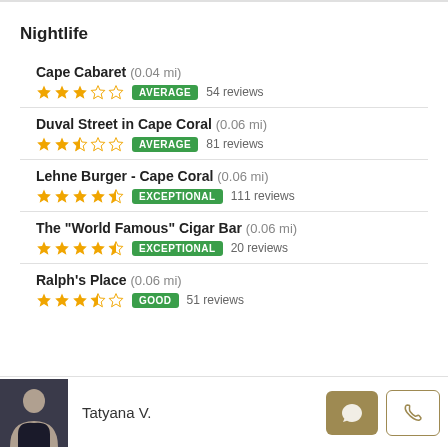Nightlife
Cape Cabaret (0.04 mi) — AVERAGE — 54 reviews — 3 stars
Duval Street in Cape Coral (0.06 mi) — AVERAGE — 81 reviews — 2.5 stars
Lehne Burger - Cape Coral (0.06 mi) — EXCEPTIONAL — 111 reviews — 4.5 stars
The "World Famous" Cigar Bar (0.06 mi) — EXCEPTIONAL — 20 reviews — 4.5 stars
Ralph's Place (0.06 mi) — GOOD — 51 reviews — 3.5 stars
Tatyana V.